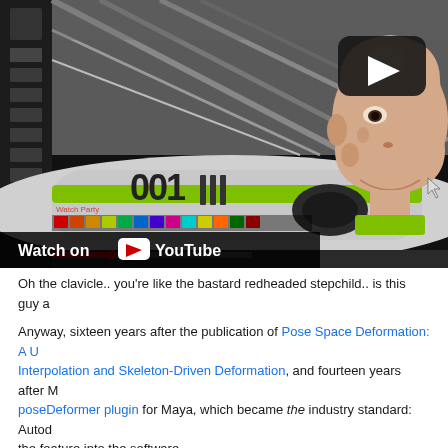[Figure (screenshot): YouTube video thumbnail showing a 3D animated character (bald figure) next to a racing car with number 001, with a dark play button overlay in the upper right and a 'Watch on YouTube' overlay at the bottom left.]
Oh the clavicle.. you're like the bastard redheaded stepchild.. is this guy a...
Anyway, sixteen years after the publication of Pose Space Deformation: A Unified Approach to Shape Interpolation and Skeleton-Driven Deformation, and fourteen years after Michael Comet released his poseDeformer plugin for Maya, which became the industry standard: Autodesk has decided to build the feature into the software.
In what seems like my early 20's being acted out before my eyes, 'Combina... associating a fixer shape when other shapes are in a certain configuration... Gollum in 2002), is also not a feature that will ship in Maya...